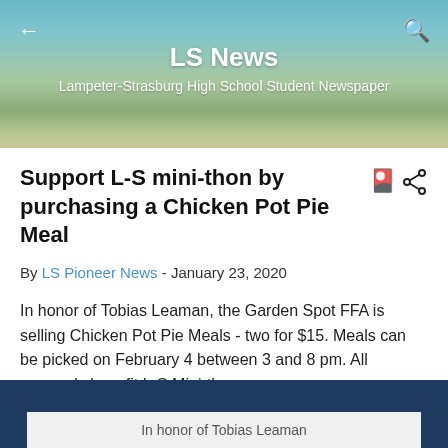LS News — Lampeter-Strasburg High School Student Newspaper
Support L-S mini-thon by purchasing a Chicken Pot Pie Meal
By LS Pioneer News - January 23, 2020
In honor of Tobias Leaman, the Garden Spot FFA is selling Chicken Pot Pie Meals - two for $15. Meals can be picked on February 4 between 3 and 8 pm. All proceeds benefit L-S Mini-thon.
Click here to order your Chicken Pot Pie
[Figure (screenshot): Embedded form/box with dark blue background and white inner panel showing 'In honor of Tobias Leaman']